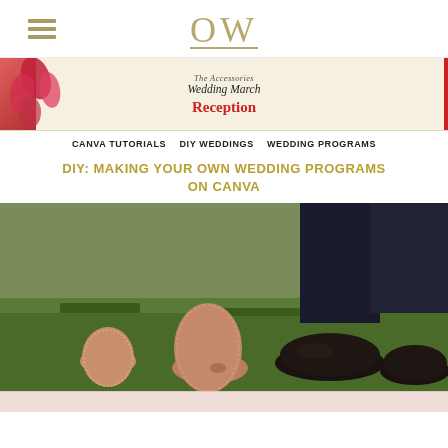OW (logo with hamburger menu)
[Figure (screenshot): Wedding program preview showing 'The Accessories', 'Wedding March', and 'Reception' text with red floral accent and vertical red bar]
CANVA TUTORIALS   DIY WEDDINGS   WEDDING PROGRAMS
DIY: MAKING YOUR OWN WEDDING PROGRAMS ON CANVA
[Figure (photo): Close-up photo of bride and groom feet on grass, bride wearing lace flats and groom wearing dark dress shoes]
[Figure (screenshot): Pink strip content preview at bottom]